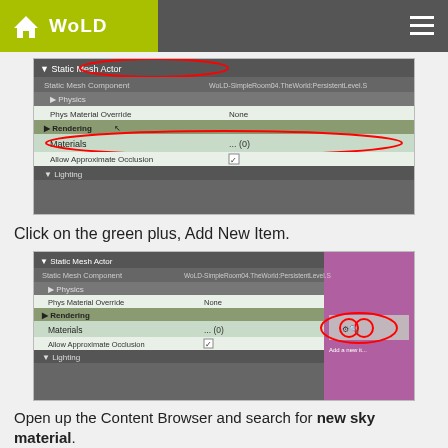WoLD
[Figure (screenshot): Screenshot of Unreal Engine Static Mesh Actor properties panel showing Static Mesh Component, Physics, Phys Material Override (None), Rendering section with Materials (...(0)) circled in red, Allow Approximate Occlusion checkbox, and Lighting section.]
Click on the green plus, Add New Item.
[Figure (screenshot): Screenshot of Unreal Engine Static Mesh Actor properties panel showing Static Mesh Component, Physics, Phys Material Override (None), Rendering section with Materials (...(0)) and Add a new item button circled in red, Allow Approximate Occlusion checkbox, and Lighting section.]
Open up the Content Browser and search for new sky material.
Select the new sky texture and close the Content Browser.
[Figure (screenshot): Partial screenshot of Unreal Engine toolbar/status bar at the bottom.]